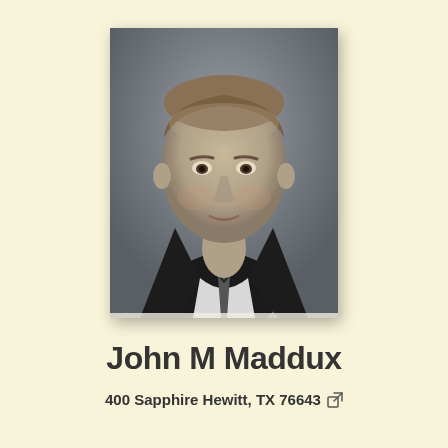[Figure (photo): Black and white headshot portrait of John M Maddux, a middle-aged man in a dark suit jacket, white dress shirt, and tie, against a gray background.]
John M Maddux
400 Sapphire Hewitt, TX 76643